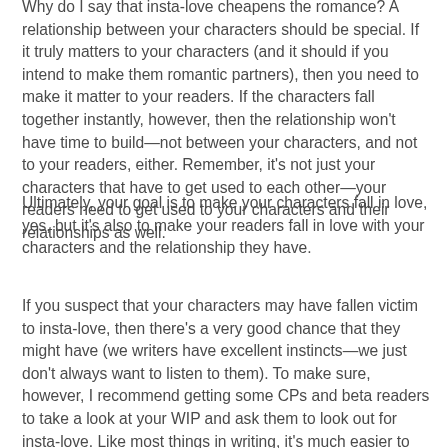Why do I say that insta-love cheapens the romance? A relationship between your characters should be special. If it truly matters to your characters (and it should if you intend to make them romantic partners), then you need to make it matter to your readers. If the characters fall together instantly, however, then the relationship won't have time to build—not between your characters, and not to your readers, either. Remember, it's not just your characters that have to get used to each other—your readers need to get used to your characters and their relationships as well.
Ultimately, your goal is to make your characters fall in love, yes, but it's also to make your readers fall in love with your characters and the relationship they have.
If you suspect that your characters may have fallen victim to insta-love, then there's a very good chance that they might have (we writers have excellent instincts—we just don't always want to listen to them). To make sure, however, I recommend getting some CPs and beta readers to take a look at your WIP and ask them to look out for insta-love. Like most things in writing, it's much easier to recognize a flaw in someone else's work than it is to recognize it in your own.